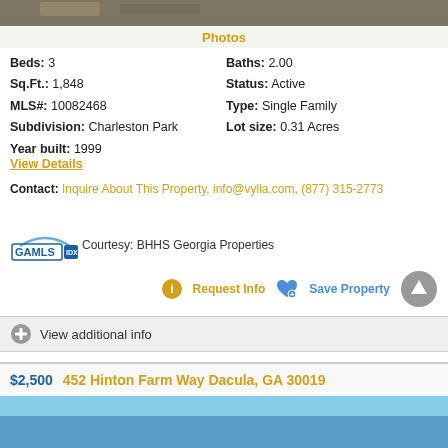[Figure (photo): Aerial or overhead photo of property - partially visible at top of page]
Photos
Beds: 3   Baths: 2.00
Sq.Ft.: 1,848   Status: Active
MLS#: 10082468   Type: Single Family
Subdivision: Charleston Park   Lot size: 0.31 Acres
Year built: 1999
View Details
Contact: Inquire About This Property, info@vylla.com, (877) 315-2773
[Figure (logo): GAMLS IDX logo]
Courtesy: BHHS Georgia Properties
Request Info   Save Property
View additional info
$2,500   452 Hinton Farm Way Dacula, GA 30019
[Figure (photo): Property photo - blue sky visible at bottom of page]